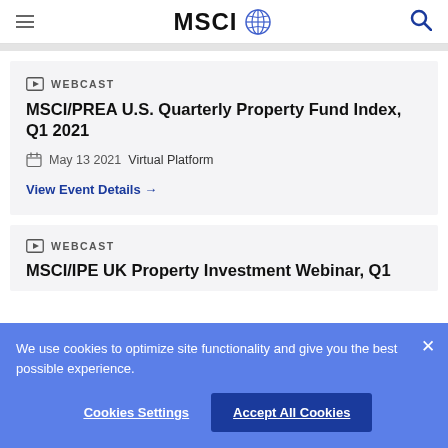MSCI
WEBCAST
MSCI/PREA U.S. Quarterly Property Fund Index, Q1 2021
May 13 2021 Virtual Platform
View Event Details →
WEBCAST
MSCI/IPE UK Property Investment Webinar, Q1
We use cookies to optimize site functionality and give you the best possible experience.
Cookies Settings
Accept All Cookies